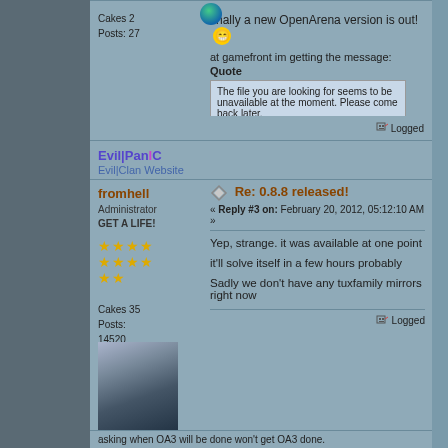Cakes 2
Posts: 27
finally a new OpenArena version is out! 😁
at gamefront im getting the message:
Quote
The file you are looking for seems to be unavailable at the moment. Please come back later.
Are the packages the same as on moddb?
Logged
Evil|PanIC
Evil|Clan Website
Re: 0.8.8 released!
« Reply #3 on: February 20, 2012, 05:12:10 AM »
fromhell
Administrator
GET A LIFE!
Cakes 35
Posts: 14520
Yep, strange. it was available at one point
it'll solve itself in a few hours probably
Sadly we don't have any tuxfamily mirrors right now
Logged
asking when OA3 will be done won't get OA3 done.